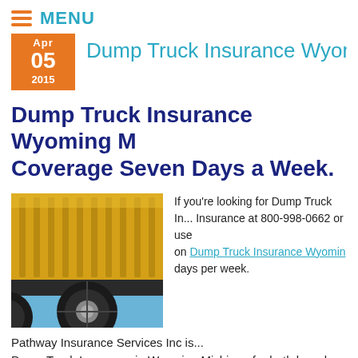MENU
Dump Truck Insurance Wyoming M... Coverage Seven Days a Week.
[Figure (photo): Yellow dump truck close-up showing the truck bed and large tire against a blue sky and trees background]
If you're looking for Dump Truck In... Insurance at 800-998-0662 or use... on Dump Truck Insurance Wyoming... days per week.
Pathway Insurance Services Inc is... Dump Truck Insurance in Wyoming Michigan for both brand-n... offer dumping services.
Dump Truck Insurance Wyoming M... Coverage